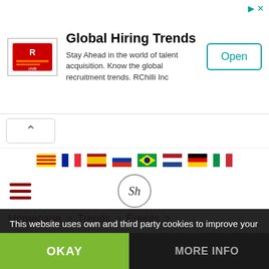[Figure (screenshot): Advertisement banner for RChilli featuring logo, title 'Global Hiring Trends', description text, and Open button]
Homepage > Trends > Events >
Events
Jardins de Pedralbes Festival
This website uses own and third party cookies to improve your experience and our services, analyzing your navigation. If you continue browsing or click on the "Accept" button, you accept their use. You can prevent its installation, although it may cause navigation difficulties.
OKAY
MORE INFO